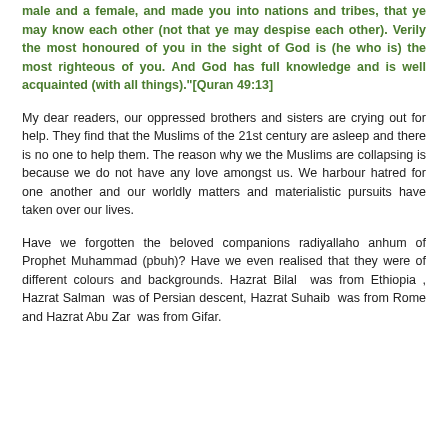male and a female, and made you into nations and tribes, that ye may know each other (not that ye may despise each other). Verily the most honoured of you in the sight of God is (he who is) the most righteous of you. And God has full knowledge and is well acquainted (with all things)."[Quran 49:13]
My dear readers, our oppressed brothers and sisters are crying out for help. They find that the Muslims of the 21st century are asleep and there is no one to help them. The reason why we the Muslims are collapsing is because we do not have any love amongst us. We harbour hatred for one another and our worldly matters and materialistic pursuits have taken over our lives.
Have we forgotten the beloved companions radiyallaho anhum of Prophet Muhammad (pbuh)? Have we even realised that they were of different colours and backgrounds. Hazrat Bilal  was from Ethiopia , Hazrat Salman  was of Persian descent, Hazrat Suhaib  was from Rome and Hazrat Abu Zar  was from Gifar.